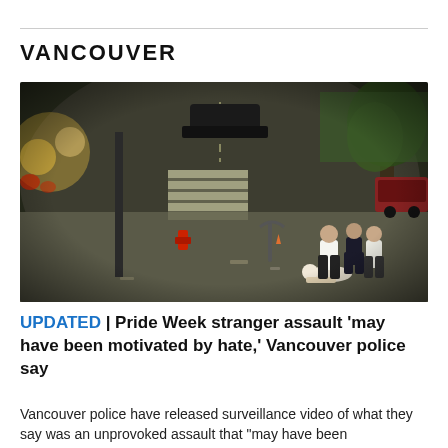VANCOUVER
[Figure (photo): Surveillance camera footage (fisheye lens, night-time) of a street intersection showing several people on a sidewalk, one person on the ground being assaulted by others, a fire hydrant, a street pole, a parked black car in the street, trees on the right, and blurred car headlights on the left.]
UPDATED | Pride Week stranger assault 'may have been motivated by hate,' Vancouver police say
Vancouver police have released surveillance video of what they say was an unprovoked assault that "may have been